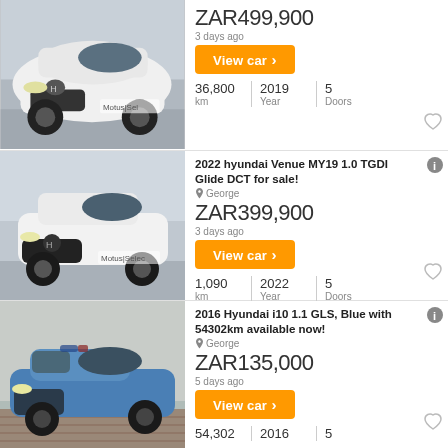[Figure (photo): White Hyundai Tucson SUV, front 3/4 view, Motus Select dealership]
ZAR499,900
3 days ago
View car ›
36,800 km | 2019 Year | 5 Doors
[Figure (photo): White Hyundai Venue SUV, front 3/4 view, Motus Select dealership]
2022 hyundai Venue MY19 1.0 TGDI Glide DCT for sale!
George
ZAR399,900
3 days ago
View car ›
1,090 km | 2022 Year | 5 Doors
[Figure (photo): Blue Hyundai i10 hatchback, front 3/4 view, parked on brickwork]
2016 Hyundai i10 1.1 GLS, Blue with 54302km available now!
George
ZAR135,000
5 days ago
View car ›
54,302 | 2016 | 5